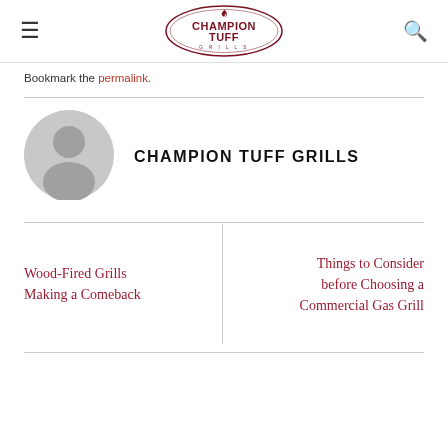CHAMPION TUFF GRILLS
Bookmark the permalink.
[Figure (illustration): Gray circular avatar/user placeholder icon with silhouette of a person]
CHAMPION TUFF GRILLS
Wood-Fired Grills Making a Comeback
Things to Consider before Choosing a Commercial Gas Grill